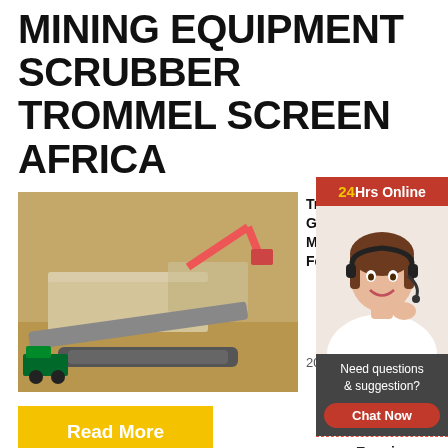MINING EQUIPMENT SCRUBBER TROMMEL SCREEN AFRICA
[Figure (photo): Aerial view of large mining equipment / crusher machinery on a dirt site with a truck nearby]
Trommel Gold W Mining For
2021-2-28
Read More
[Figure (photo): Customer service representative woman wearing headset smiling, with 24Hrs Online banner]
Need questions & suggestion?
Chat Now
Enquiry
limingjlmofen